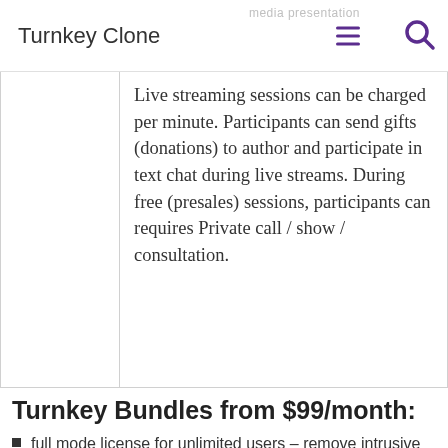Turnkey Clone | media presentation
Live streaming sessions can be charged per minute. Participants can send gifts (donations) to author and participate in text chat during live streams. During free (presales) sessions, participants can requires Private call / show / consultation.
Turnkey Bundles from $99/month:
full mode license for unlimited users – remove intrusive ads, attributions and limitations